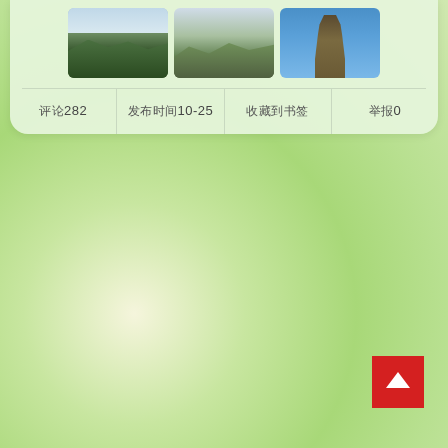[Figure (photo): Three thumbnail photos of mountain scenery and a pagoda tower, displayed in a row inside a light green card. Left: forested mountain ridges with hazy sky. Center: mountain ridge with city visible below. Right: wooden pagoda/tower against clear blue sky.]
评论282　　发布时间10-25　　收藏到书签　　举报0